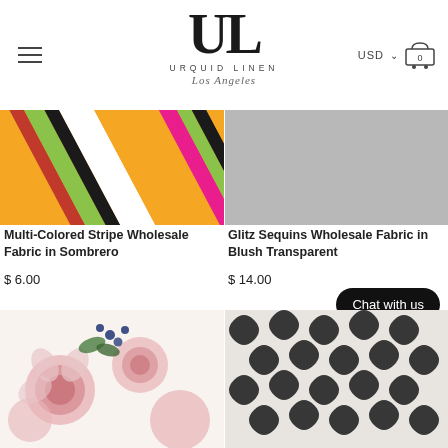Urquid Linen Los Angeles — USD cart
[Figure (photo): Multi-colored diagonal stripe fabric in orange, black, green, magenta, white, and yellow]
[Figure (photo): Glitz sequin fabric in blush transparent grey with sparkle sequins and accessibility badge]
Multi-Colored Stripe Wholesale Fabric in Sombrero
$ 6.00
Glitz Sequins Wholesale Fabric in Blush Transparent
$ 14.00
[Figure (photo): Floral fabric with pink roses and blue berries on white background]
[Figure (photo): Black and white lace/paisley patterned fabric]